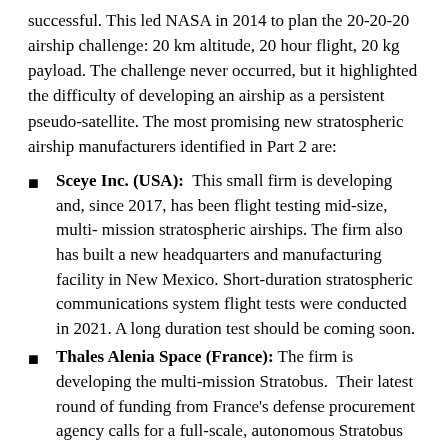successful. This led NASA in 2014 to plan the 20-20-20 airship challenge: 20 km altitude, 20 hour flight, 20 kg payload. The challenge never occurred, but it highlighted the difficulty of developing an airship as a persistent pseudo-satellite. The most promising new stratospheric airship manufacturers identified in Part 2 are:
Sceye Inc. (USA): This small firm is developing and, since 2017, has been flight testing mid-size, multi-mission stratospheric airships. The firm also has built a new headquarters and manufacturing facility in New Mexico. Short-duration stratospheric communications system flight tests were conducted in 2021. A long duration test should be coming soon.
Thales Alenia Space (France): The firm is developing the multi-mission Stratobus. Their latest round of funding from France's defense procurement agency calls for a full-scale, autonomous Stratobus demonstrator airship to fly by the end of 2023, five